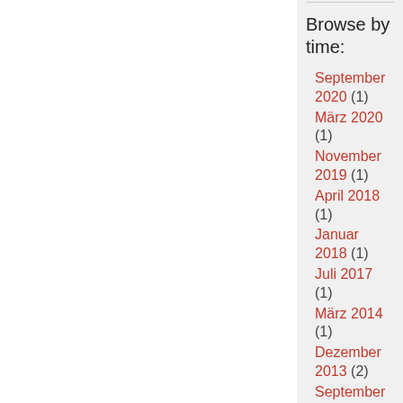Browse by time:
September 2020 (1)
März 2020 (1)
November 2019 (1)
April 2018 (1)
Januar 2018 (1)
Juli 2017 (1)
März 2014 (1)
Dezember 2013 (2)
September 2013 (1)
Mai 2013 (1)